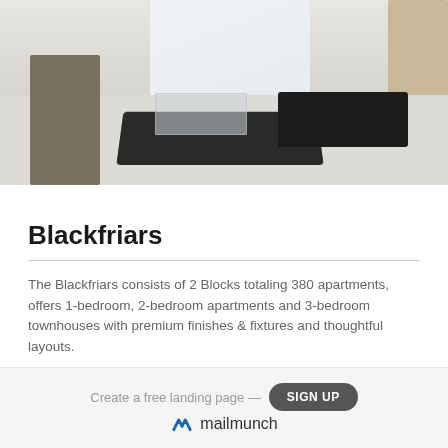[Figure (photo): Interior photo of a modern living room with dark sofa, glass coffee table, dark rug, and light grey carpet flooring]
Blackfriars
The Blackfriars consists of 2 Blocks totaling 380 apartments, offers 1-bedroom, 2-bedroom apartments and 3-bedroom townhouses with premium finishes & fixtures and thoughtful layouts.
Located just a stone's throw away from the Manchester shopping district and the busy Deansgate, Blackfriars is highly sought-after by tenants who seek modern living in an exclusive prime location.
Create a free landing page — SIGN UP  mailmunch